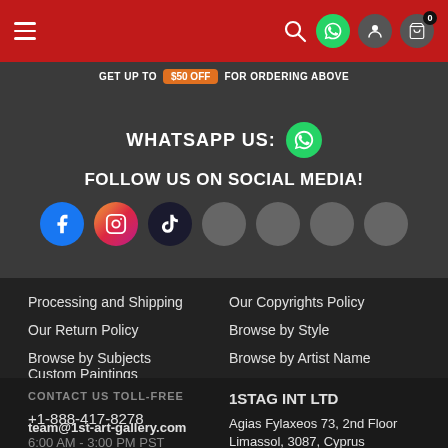[Figure (screenshot): Navigation bar with hamburger menu on left, search/whatsapp/user/cart icons on right, red background]
GET UP TO $50 OFF FOR ORDERING ABOVE
WHATSAPP US:
FOLLOW US ON SOCIAL MEDIA!
[Figure (infographic): Social media icons: Facebook, Instagram, TikTok, and 4 grey placeholder circles]
Processing and Shipping
Our Copyrights Policy
Our Return Policy
Browse by Style
Browse by Subjects
Browse by Artist Name
Custom Paintings
CONTACT US TOLL-FREE
1STAG INT LTD
+1-888-417-8278
team@1st-art-gallery.com
6:00 AM - 3:00 PM PST
Agias Fylaxeos 73, 2nd Floor
Limassol, 3087, Cyprus